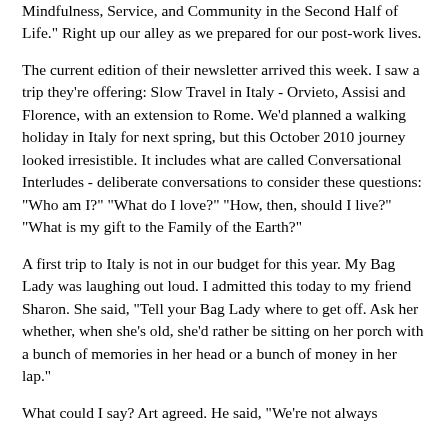Mindfulness, Service, and Community in the Second Half of Life." Right up our alley as we prepared for our post-work lives.
The current edition of their newsletter arrived this week. I saw a trip they're offering: Slow Travel in Italy - Orvieto, Assisi and Florence, with an extension to Rome. We'd planned a walking holiday in Italy for next spring, but this October 2010 journey looked irresistible. It includes what are called Conversational Interludes - deliberate conversations to consider these questions: "Who am I?" "What do I love?" "How, then, should I live?" "What is my gift to the Family of the Earth?"
A first trip to Italy is not in our budget for this year. My Bag Lady was laughing out loud. I admitted this today to my friend Sharon. She said, "Tell your Bag Lady where to get off. Ask her whether, when she's old, she'd rather be sitting on her porch with a bunch of memories in her head or a bunch of money in her lap."
What could I say? Art agreed. He said, "We're not always